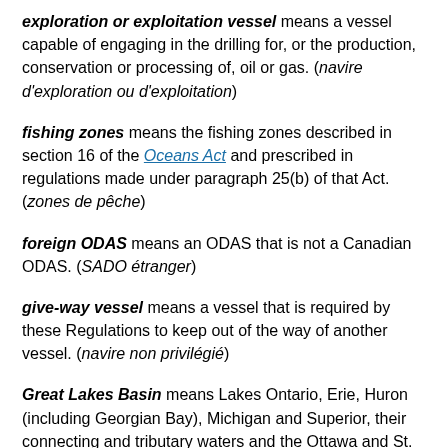exploration or exploitation vessel means a vessel capable of engaging in the drilling for, or the production, conservation or processing of, oil or gas. (navire d'exploration ou d'exploitation)
fishing zones means the fishing zones described in section 16 of the Oceans Act and prescribed in regulations made under paragraph 25(b) of that Act. (zones de pêche)
foreign ODAS means an ODAS that is not a Canadian ODAS. (SADO étranger)
give-way vessel means a vessel that is required by these Regulations to keep out of the way of another vessel. (navire non privilégié)
Great Lakes Basin means Lakes Ontario, Erie, Huron (including Georgian Bay), Michigan and Superior, their connecting and tributary waters and the Ottawa and St. Lawrence Rivers and their